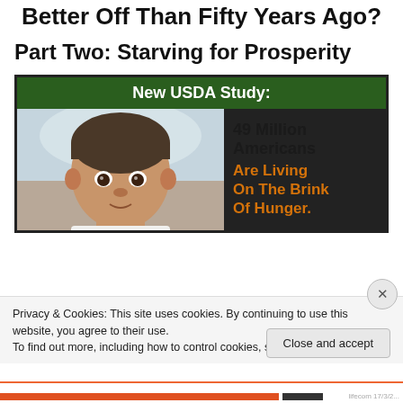Better Off Than Fifty Years Ago?
Part Two: Starving for Prosperity
[Figure (infographic): USDA study infographic showing a young child's photo with text: New USDA Study: 49 Million Americans Are Living On The Brink Of Hunger.]
Privacy & Cookies: This site uses cookies. By continuing to use this website, you agree to their use.
To find out more, including how to control cookies, see here: Cookie Policy
Close and accept